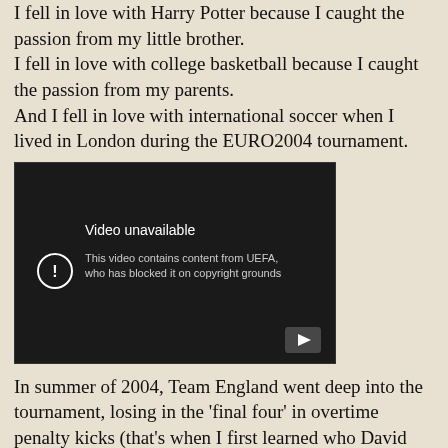I fell in love with Harry Potter because I caught the passion from my little brother. I fell in love with college basketball because I caught the passion from my parents. And I fell in love with international soccer when I lived in London during the EURO2004 tournament.
[Figure (screenshot): Embedded YouTube video showing 'Video unavailable – This video contains content from UEFA, who has blocked it on copyright grounds']
In summer of 2004, Team England went deep into the tournament, losing in the 'final four' in overtime penalty kicks (that's when I first learned who David Beckham was - he's the one who kicked the turf instead of the ball). No one I spoke to that summer wanted to talk about anything other than the EUROs. Luckily for me, the English were patient